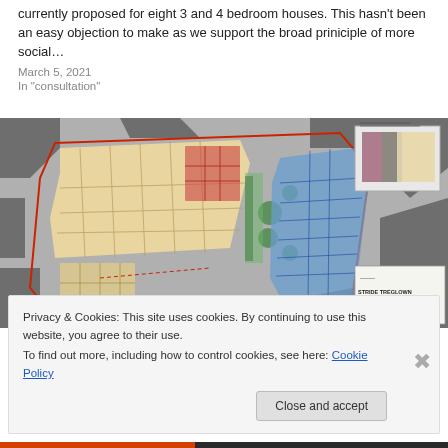currently proposed for eight 3 and 4 bedroom houses. This hasn't been an easy objection to make as we support the broad priniciple of more social…
March 5, 2021
In "consultation"
[Figure (other): Architectural site plan drawing showing building layouts. Main plan shows a large development with yellow/beige colored blocks and blue roofed units arranged in rows with green spaces. A smaller thumbnail plan appears in the upper right. Title block in lower right reads STRIDE TREGLOWN.]
Privacy & Cookies: This site uses cookies. By continuing to use this website, you agree to their use.
To find out more, including how to control cookies, see here: Cookie Policy
Close and accept